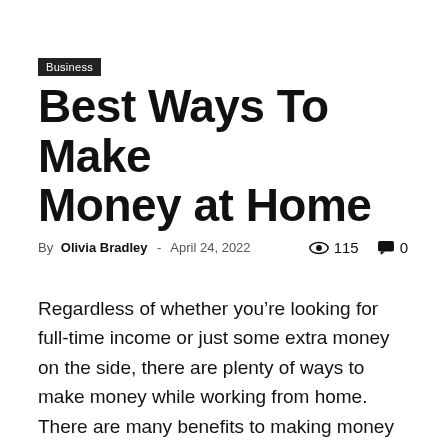Business
Best Ways To Make Money at Home
By Olivia Bradley - April 24, 2022  115  0
Regardless of whether you’re looking for full-time income or just some extra money on the side, there are plenty of ways to make money while working from home. There are many benefits to making money from home, such as having the flexibility to make your own schedule and enjoy a strong work-life balance.
Reviewing ideas for how to make money at home can help